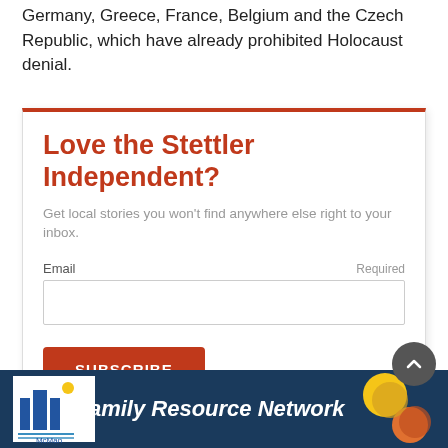Germany, Greece, France, Belgium and the Czech Republic, which have already prohibited Holocaust denial.
Love the Stettler Independent?
Get local stories you won't find anywhere else right to your inbox.
Email    Required
[Figure (screenshot): Email input field (empty text box)]
[Figure (screenshot): Subscribe button (orange/red rounded rectangle with white bold uppercase text SUBSCRIBE)]
[Figure (logo): McMan Family Resource Network advertisement banner with dark blue background, McMan logo on left, family photos on right]
[Figure (other): Scroll-to-top circular dark grey button with upward chevron arrow]